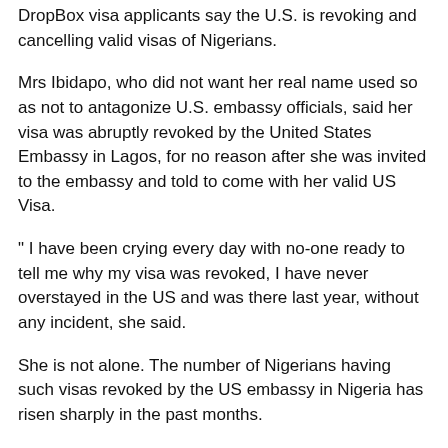DropBox visa applicants say the U.S. is revoking and cancelling valid visas of Nigerians.
Mrs Ibidapo, who did not want her real name used so as not to antagonize U.S. embassy officials, said her visa was abruptly revoked by the United States Embassy in Lagos, for no reason after she was invited to the embassy and told to come with her valid US Visa.
" I have been crying every day with no-one ready to tell me why my visa was revoked, I have never overstayed in the US and was there last year, without any incident, she said.
She is not alone. The number of Nigerians having such visas revoked by the US embassy in Nigeria has risen sharply in the past months.
Dozens of Nigerians with valid visas trying to obtain a new visa for a spouse, parents or a family member, said the visa applications were denied, and theirs revoked for no reason.
Majority of Dropbox applicants who are exempted from visa interviews being renewed, are being asked to come for